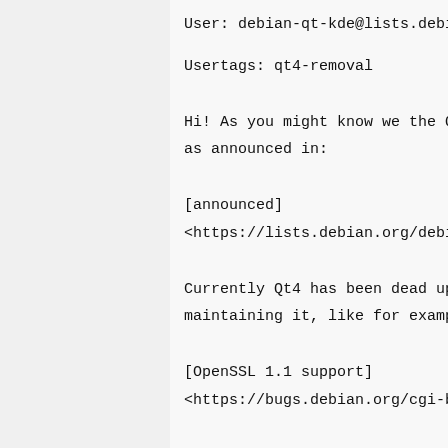User: debian-qt-kde@lists.debian.org
Usertags: qt4-removal
Hi! As you might know we the Qt/KDE team ar
as announced in:
[announced]
<https://lists.debian.org/debian-devel-anno
Currently Qt4 has been dead upstream and we
maintaining it, like for example in the [Op
[OpenSSL 1.1 support]
<https://bugs.debian.org/cgi-bin/bugreport.
In order to make this move, all packages di
the Qt4 libraries have to either get ported